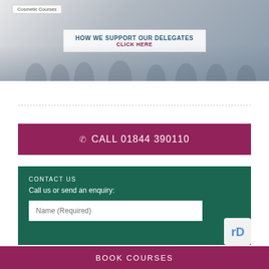[Figure (photo): Banner image showing people at a training/conference session with overlay text 'HOW WE SUPPORT OUR DELEGATES' and 'CLICK HERE', with a 'Cosmetic Courses' tab visible.]
CALL 01844 390110
CONTACT US
Call us or send an enquiry:
Name (Required)
BOOK COURSES